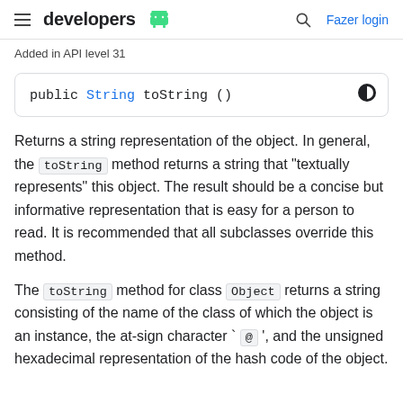developers  Fazer login
Added in API level 31
Returns a string representation of the object. In general, the toString method returns a string that "textually represents" this object. The result should be a concise but informative representation that is easy for a person to read. It is recommended that all subclasses override this method.
The toString method for class Object returns a string consisting of the name of the class of which the object is an instance, the at-sign character `@', and the unsigned hexadecimal representation of the hash code of the object.